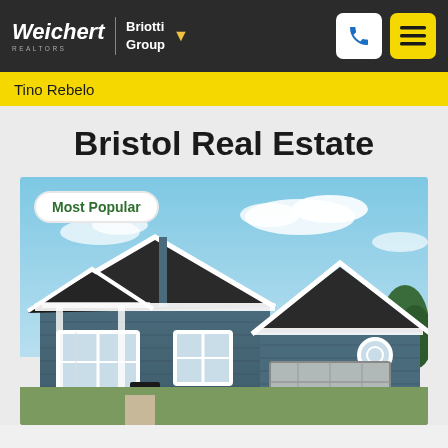Weichert REALTORS | Briotti Group
Tino Rebelo
Bristol Real Estate
[Figure (photo): Exterior photo of a two-story blue/slate-colored craftsman-style house with dark roof, white trim, multiple gabled peaks, windows with white frames, and a garage door visible on the right. Blue sky with light clouds in background. Badge overlay reads 'Most Popular'.]